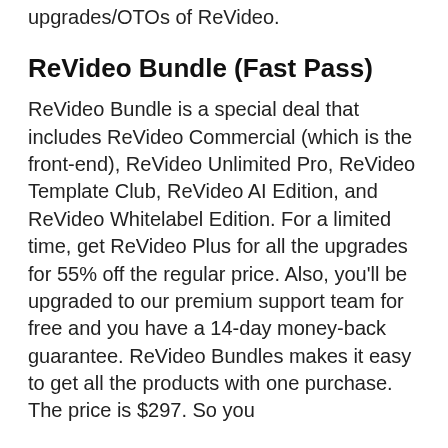ReVideo review, you can see all the upgrades/OTOs of ReVideo.
ReVideo Bundle (Fast Pass)
ReVideo Bundle is a special deal that includes ReVideo Commercial (which is the front-end), ReVideo Unlimited Pro, ReVideo Template Club, ReVideo AI Edition, and ReVideo Whitelabel Edition. For a limited time, get ReVideo Plus for all the upgrades for 55% off the regular price. Also, you’ll be upgraded to our premium support team for free and you have a 14-day money-back guarantee. ReVideo Bundles makes it easy to get all the products with one purchase. The price is $297. So you